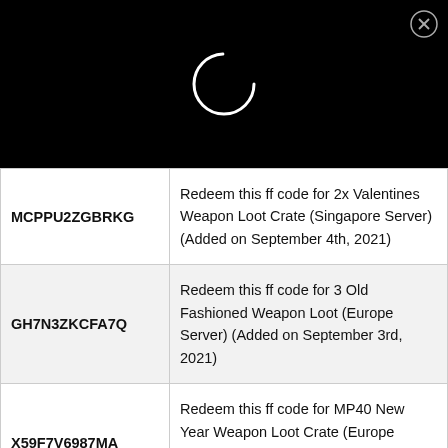[Figure (other): Black header area with a loading spinner circle (white outline) and a close (X) button in the top-right corner]
| Code | Description |
| --- | --- |
| MCPPU2ZGBRKG | Redeem this ff code for 2x Valentines Weapon Loot Crate (Singapore Server) (Added on September 4th, 2021) |
| GH7N3ZKCFA7Q | Redeem this ff code for 3 Old Fashioned Weapon Loot (Europe Server) (Added on September 3rd, 2021) |
| X59F7V6987MA | Redeem this ff code for MP40 New Year Weapon Loot Crate (Europe Server) (Added on September 2nd, 2021) |